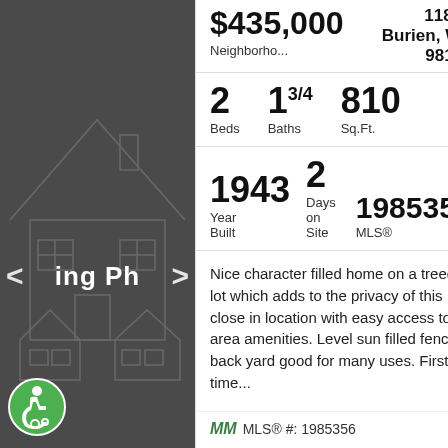[Figure (screenshot): Dark gray panel with house outline illustration and navigation arrows showing 'ing Ph' text, with accessibility badge at bottom left]
$435,000
Neighborho...
118 st
Burien, WA
98146
2 Beds   13/4 Baths   810 Sq.Ft.
1943 Year Built   2 Days on Site   1985356 MLS®
Nice character filled home on a treed lot which adds to the privacy of this close in location with easy access to all area amenities. Level sun filled fenced back yard good for many uses. First time...
MLS® #: 1985356